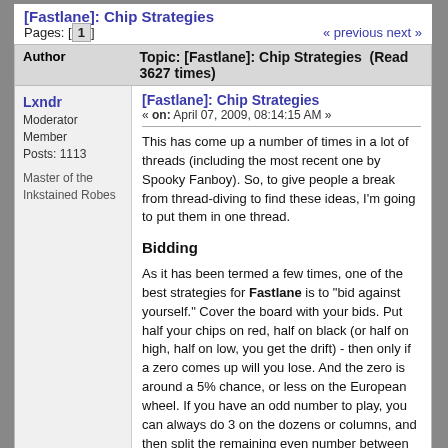[Fastlane]: Chip Strategies
Pages: [1]   « previous next »
| Author | Topic: [Fastlane]: Chip Strategies  (Read 3627 times) |
| --- | --- |
| Lxndr
Moderator
Member
Posts: 1113

Master of the Inkstained Robes | [Fastlane]: Chip Strategies
« on: April 07, 2009, 08:14:15 AM »

This has come up a number of times in a lot of threads (including the most recent one by Spooky Fanboy). So, to give people a break from thread-diving to find these ideas, I'm going to put them in one thread.

Bidding

As it has been termed a few times, one of the best strategies for Fastlane is to "bid against yourself." Cover the board with your bids. Put half your chips on red, half on black (or half on high, half on low, you get the drift) - then only if a zero comes up will you lose. And the zero is around a 5% chance, or less on the European wheel. If you have an odd number to play, you can always do 3 on the dozens or columns, and then split the remaining even number between the even money bets.

Assuming nobody sees any green, you'll get back exactly as many chips as you put down |